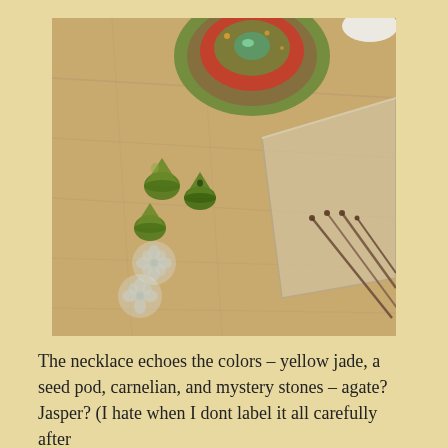[Figure (photo): A photo of craft/jewelry supplies on a wooden table: green cone-shaped beads, clear flower-shaped beads, a decorative circular polymer clay or beaded piece, a clear plastic tray, and metal head pins/wire.]
The necklace echoes the colors – yellow jade, a seed pod, carnelian, and mystery stones – agate? Jasper? (I hate when I dont label it all carefully after